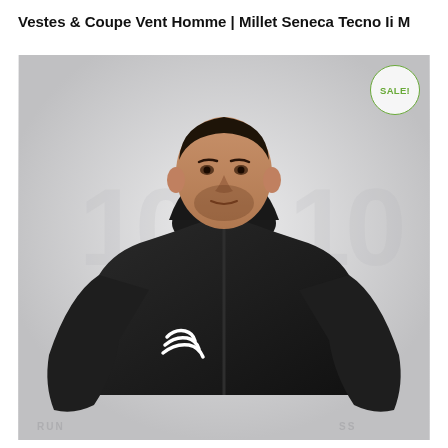Vestes & Coupe Vent Homme | Millet Seneca Tecno Ii M
[Figure (photo): A man wearing a black Compressport hooded running jacket (Millet Seneca Tecno Ii M), shown from the waist up against a light grey background. A green-outlined circular SALE! badge appears in the upper-right corner of the photo.]